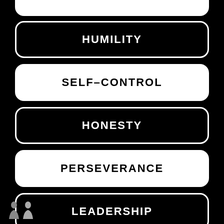HUMILITY
SELF-CONTROL
HONESTY
PERSEVERANCE
LEADERSHIP
[Figure (logo): Small decorative logo/icon in bottom-left corner, grey silhouette figures]